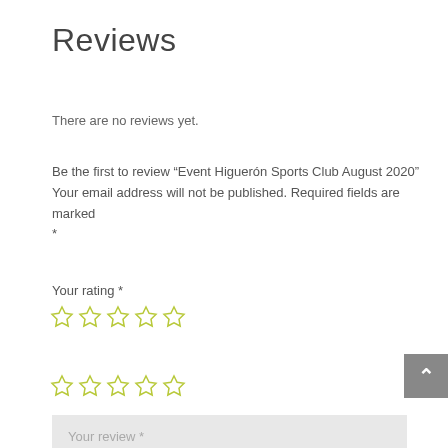Reviews
There are no reviews yet.
Be the first to review “Event Higuerón Sports Club August 2020”
Your email address will not be published. Required fields are marked *
Your rating *
[Figure (other): Five empty star icons for rating (row 1)]
[Figure (other): Five empty star icons for rating (row 2)]
Your review *
Name *